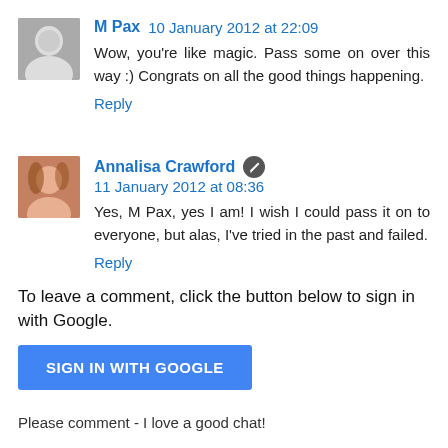M Pax  10 January 2012 at 22:09
Wow, you're like magic. Pass some on over this way :) Congrats on all the good things happening.
Reply
Annalisa Crawford  11 January 2012 at 08:36
Yes, M Pax, yes I am! I wish I could pass it on to everyone, but alas, I've tried in the past and failed.
Reply
To leave a comment, click the button below to sign in with Google.
SIGN IN WITH GOOGLE
Please comment - I love a good chat!